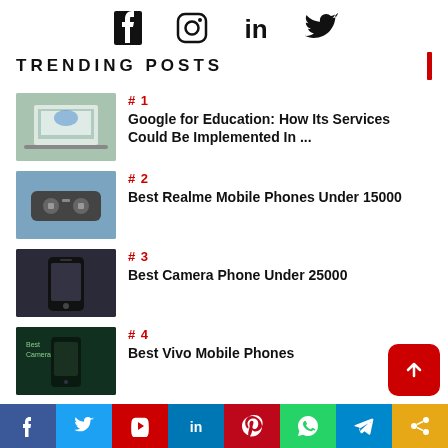[Figure (infographic): Social media icons row: Facebook, Instagram, LinkedIn, Twitter]
TRENDING POSTS
#1 Google for Education: How Its Services Could Be Implemented In ...
#2 Best Realme Mobile Phones Under 15000
#3 Best Camera Phone Under 25000
#4 Best Vivo Mobile Phones
[Figure (infographic): Bottom social sharing bar: Facebook, Twitter, YouTube, LinkedIn, Pinterest, WhatsApp, Telegram, Share]